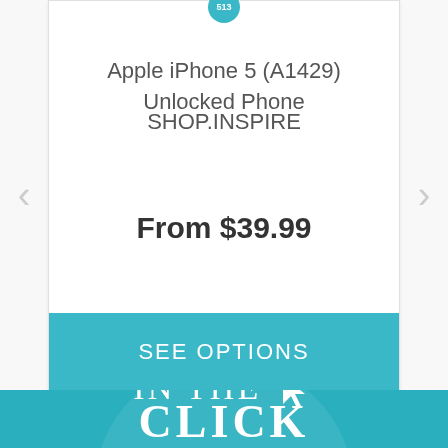Apple iPhone 5 (A1429) Unlocked Phone
SHOP.INSPIRE
From $39.99
SEE OPTIONS
[Figure (infographic): Teal banner with large white serif text reading 'IN THE' with a cursor/arrow icon, and partial text 'CLICK' below, on a teal background with a decorative circular shape]